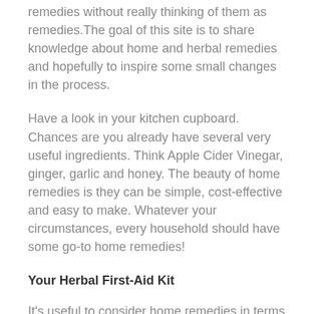remedies without really thinking of them as remedies.The goal of this site is to share knowledge about home and herbal remedies and hopefully to inspire some small changes in the process.
Have a look in your kitchen cupboard. Chances are you already have several very useful ingredients. Think Apple Cider Vinegar, ginger, garlic and honey. The beauty of home remedies is they can be simple, cost-effective and easy to make. Whatever your circumstances, every household should have some go-to home remedies!
Your Herbal First-Aid Kit
It's useful to consider home remedies in terms